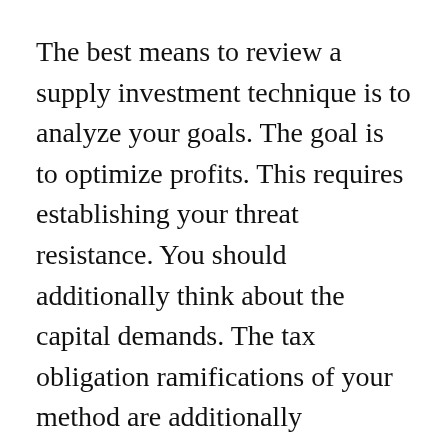The best means to review a supply investment technique is to analyze your goals. The goal is to optimize profits. This requires establishing your threat resistance. You should additionally think about the capital demands. The tax obligation ramifications of your method are additionally important. Selecting the appropriate fund is vital to attaining your goals. You ought to also consider the prices as well as rewards of your picked financial investment choice. There are a number of benefits to choosing a trusted broker. An excellent broker will bill a cost based on quantity. GOLD
Along with helping you make money, financial investments can additionally aid your business grow. By purchasing stocks and also bonds, you